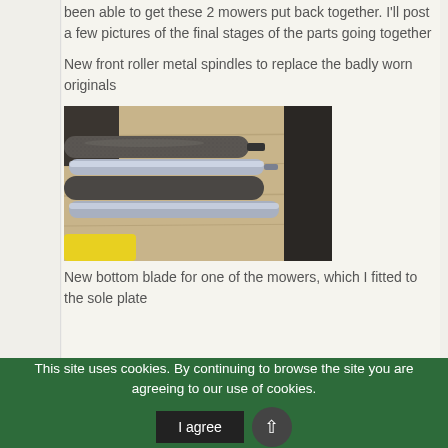been able to get these 2 mowers put back together. I'll post a few pictures of the final stages of the parts going together
New front roller metal spindles to replace the badly worn originals
[Figure (photo): Photograph of metal spindles/rods laid on a wooden surface, showing old worn and new replacement spindles side by side]
New bottom blade for one of the mowers, which I fitted to the sole plate
This site uses cookies. By continuing to browse the site you are agreeing to our use of cookies.